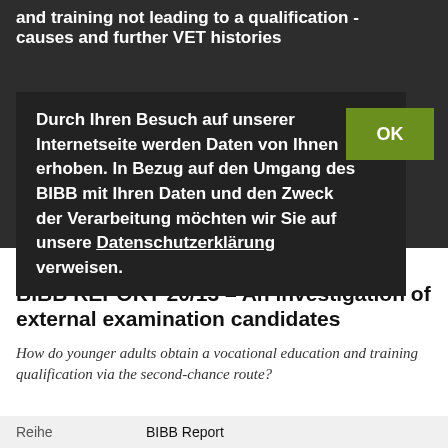and training not leading to a qualification - causes and further VET histories
Durch Ihren Besuch auf unserer Internetseite werden Daten von Ihnen erhoben. In Bezug auf den Umgang des BIBB mit Ihren Daten und den Zweck der Verarbeitung möchten wir Sie auf unsere Datenschutzerklärung verweisen.
OK
[Figure (logo): BIBB REPORT logo thumbnail]
Gutschow, Katrin; Schreiber, Daniel
BIBB REPORT 20/13 - An investigation of external examination candidates
How do younger adults obtain a vocational education and training qualification via the second-chance route?
| Reihe | BIBB Report |
| --- | --- |
| Reihe | BIBB Report |